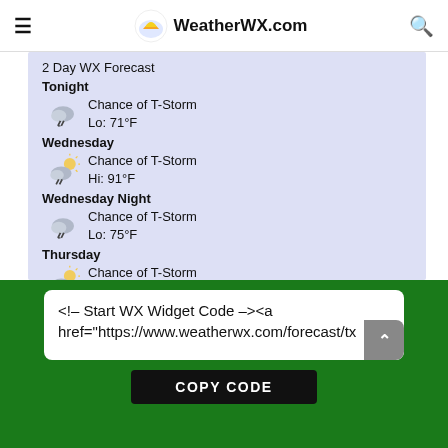WeatherWX.com
2 Day WX Forecast
Tonight
Chance of T-Storm Lo: 71°F
Wednesday
Chance of T-Storm Hi: 91°F
Wednesday Night
Chance of T-Storm Lo: 75°F
Thursday
Chance of T-Storm Hi: 89°F
WeatherWX.com
<!-- Start WX Widget Code --><a href="https://www.weatherwx.com/forecast/tx ...